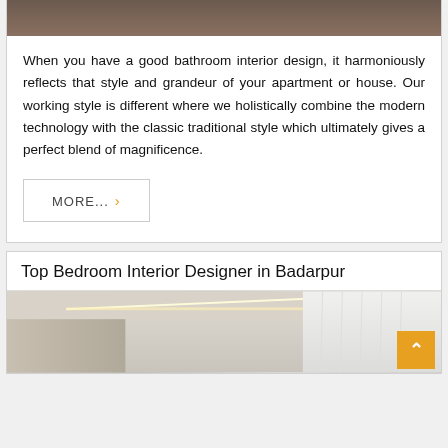[Figure (photo): Bathroom interior photo — dark/warm toned image at top of card]
When you have a good bathroom interior design, it harmoniously reflects that style and grandeur of your apartment or house. Our working style is different where we holistically combine the modern technology with the classic traditional style which ultimately gives a perfect blend of magnificence.
MORE... ›
Top Bedroom Interior Designer in Badarpur
[Figure (photo): Bedroom interior photo with LED ceiling lighting and white curtains]